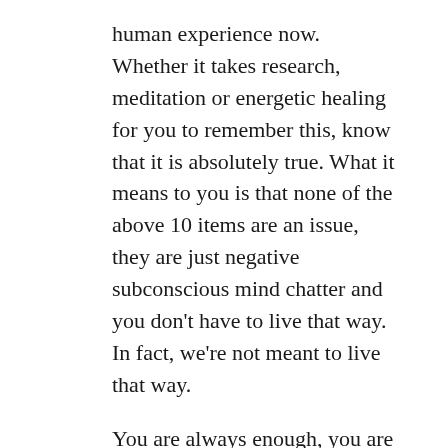human experience now. Whether it takes research, meditation or energetic healing for you to remember this, know that it is absolutely true. What it means to you is that none of the above 10 items are an issue, they are just negative subconscious mind chatter and you don't have to live that way. In fact, we're not meant to live that way.
You are always enough, you are NEVER alone and you can create WHATEVER you really want in this life. 🙂
Live and empowered life!
Reply